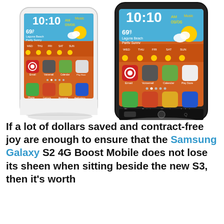[Figure (photo): Two Samsung Galaxy S2 4G smartphones side by side — one white (left) and one black (right), both showing the Android home screen with weather widget displaying 10:10 AM, 09/06, 69°F, Laguna Beach Partly Sunny, and app icons including Email, Voicemail, Calendar, Play Store, Phone, Contacts, Messaging, Applications.]
If a lot of dollars saved and contract-free joy are enough to ensure that the Samsung Galaxy S2 4G Boost Mobile does not lose its sheen when sitting beside the new S3, then it's worth